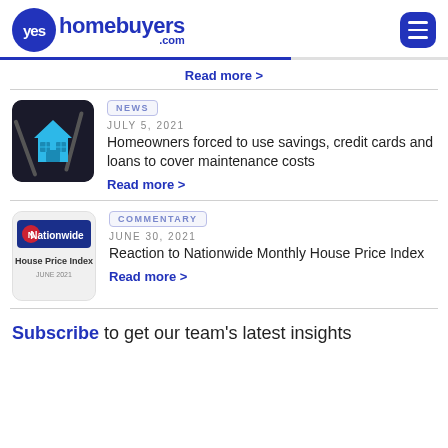YesHomeBuyers.com
Read more >
[Figure (photo): Photo of a blue house cutout on dark background with tools]
NEWS
JULY 5, 2021
Homeowners forced to use savings, credit cards and loans to cover maintenance costs
Read more >
[Figure (photo): Nationwide House Price Index cover image, June 2021]
COMMENTARY
JUNE 30, 2021
Reaction to Nationwide Monthly House Price Index
Read more >
Subscribe to get our team's latest insights